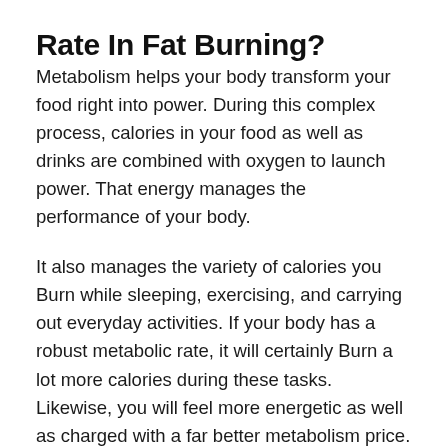Rate In Fat Burning?
Metabolism helps your body transform your food right into power. During this complex process, calories in your food as well as drinks are combined with oxygen to launch power. That energy manages the performance of your body.
It also manages the variety of calories you Burn while sleeping, exercising, and carrying out everyday activities. If your body has a robust metabolic rate, it will certainly Burn a lot more calories during these tasks. Likewise, you will feel more energetic as well as charged with a far better metabolism price.